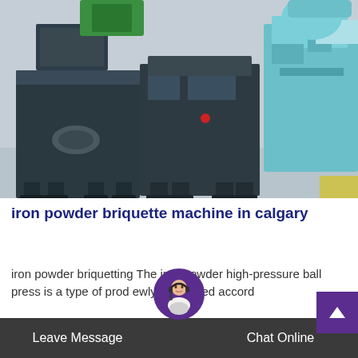[Figure (photo): Industrial iron powder briquette machines in a factory setting. Large dark grey/black metal pressing machines with green/teal machines in the background on a concrete floor.]
iron powder briquette machine in calgary
iron powder briquetting The iron powder high-pressure ball press is a type of prod newly developed accord